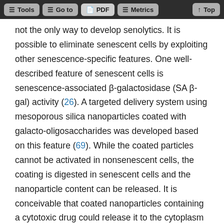Tools | Go to | PDF | Metrics | Top
not the only way to develop senolytics. It is possible to eliminate senescent cells by exploiting other senescence-specific features. One well-described feature of senescent cells is senescence-associated β-galactosidase (SA β-gal) activity (26). A targeted delivery system using mesoporous silica nanoparticles coated with galacto-oligosaccharides was developed based on this feature (69). While the coated particles cannot be activated in nonsenescent cells, the coating is digested in senescent cells and the nanoparticle content can be released. It is conceivable that coated nanoparticles containing a cytotoxic drug could release it to the cytoplasm of senescent cells to induce apoptosis. Increased β-galactosidase activity is not a complete surrogate feature of senescent cells, as it is known